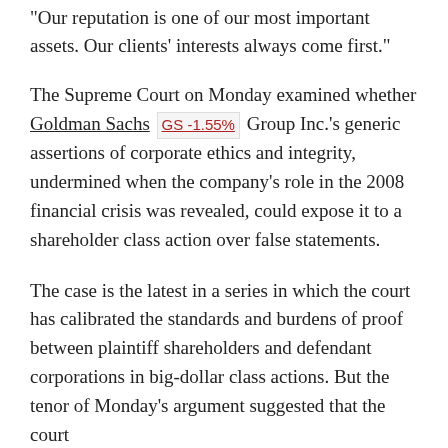"Our reputation is one of our most important assets. Our clients' interests always come first."
The Supreme Court on Monday examined whether Goldman Sachs GS -1.55% Group Inc.'s generic assertions of corporate ethics and integrity, undermined when the company's role in the 2008 financial crisis was revealed, could expose it to a shareholder class action over false statements.
The case is the latest in a series in which the court has calibrated the standards and burdens of proof between plaintiff shareholders and defendant corporations in big-dollar class actions. But the tenor of Monday's argument suggested that the court